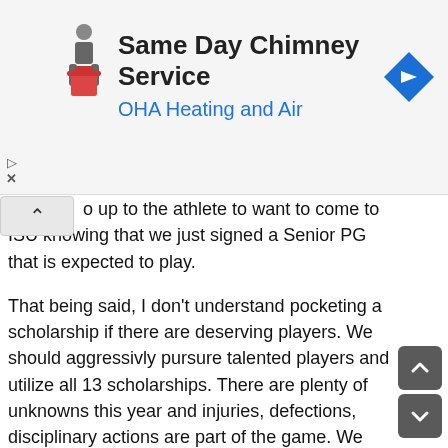[Figure (advertisement): Ad banner for Same Day Chimney Service / OHA Heating and Air with a person carrying trash icon and a navigation arrow diamond icon]
o up to the athlete to want to come to ISU knowing that we just signed a Senior PG that is expected to play.

That being said, I don't understand pocketing a scholarship if there are deserving players. We should aggressivly pursure talented players and utilize all 13 scholarships. There are plenty of unknowns this year and injuries, defections, disciplinary actions are part of the game. We don't have proven depth in the bigs and adding depth there could be great but ultimately i am for adding the best available player despite the position. Create competition now and in the future. However, I don't think we issue one just for the sake of adding a player especially if it is not a grad transfer or Gassman situation. If you are tying up multiple years, the player must be deserving and potential contributor.